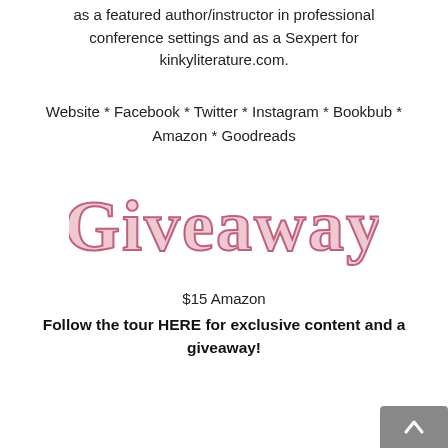as a featured author/instructor in professional conference settings and as a Sexpert for kinkyliterature.com.
Website * Facebook * Twitter * Instagram * Bookbub * Amazon * Goodreads
[Figure (illustration): Decorative stylized 'GIVEAWAY' text in pink/rose outlined serif font]
$15 Amazon
Follow the tour HERE for exclusive content and a giveaway!